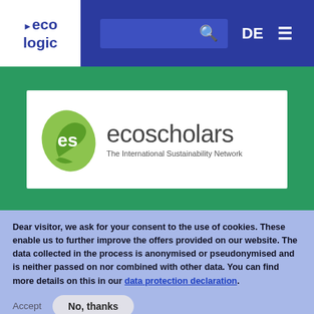eco logic | DE | search bar | menu
[Figure (logo): ecoscholars logo — green leaf 'es' icon with text 'ecoscholars' and subtitle 'The International Sustainability Network' on white background over green banner]
Dear visitor, we ask for your consent to the use of cookies. These enable us to further improve the offers provided on our website. The data collected in the process is anonymised or pseudonymised and is neither passed on nor combined with other data. You can find more details on this in our data protection declaration.
Accept
No, thanks